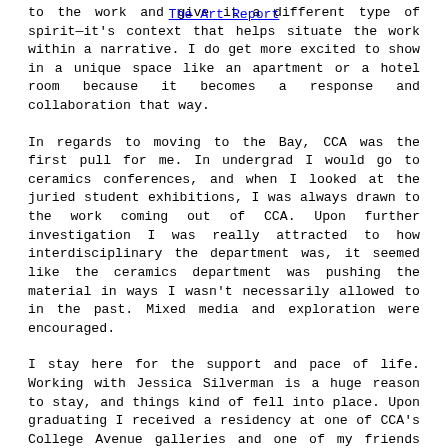The Art Report
to the work and give it a different type of spirit—it's context that helps situate the work within a narrative. I do get more excited to show in a unique space like an apartment or a hotel room because it becomes a response and collaboration that way.
In regards to moving to the Bay, CCA was the first pull for me. In undergrad I would go to ceramics conferences, and when I looked at the juried student exhibitions, I was always drawn to the work coming out of CCA. Upon further investigation I was really attracted to how interdisciplinary the department was, it seemed like the ceramics department was pushing the material in ways I wasn't necessarily allowed to in the past. Mixed media and exploration were encouraged.
I stay here for the support and pace of life. Working with Jessica Silverman is a huge reason to stay, and things kind of fell into place. Upon graduating I received a residency at one of CCA's College Avenue galleries and one of my friends asked me to split an old car shop in Richmond[as a studio]. I also have a pretty sweet deal on rent, which really helps. I can really get behind the politics here and